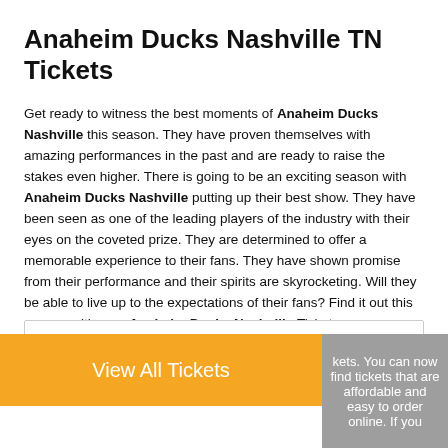Anaheim Ducks Nashville TN Tickets
Get ready to witness the best moments of Anaheim Ducks Nashville this season. They have proven themselves with amazing performances in the past and are ready to raise the stakes even higher. There is going to be an exciting season with Anaheim Ducks Nashville putting up their best show. They have been seen as one of the leading players of the industry with their eyes on the coveted prize. They are determined to offer a memorable experience to their fans. They have shown promise from their performance and their spirits are skyrocketing. Will they be able to live up to the expectations of their fans? Find it out this season with your Anaheim Ducks Nashville Tickets.
Make sure you don't miss out on all the action going on this season. ... kets. You can now find tickets that are affordable and easy to order online. If you